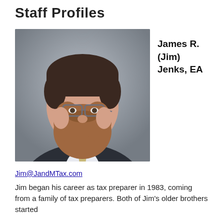Staff Profiles
[Figure (photo): Professional headshot photo of James R. (Jim) Jenks, EA — a bearded man with glasses wearing a dark suit and tie, photographed against a gray background.]
James R. (Jim) Jenks, EA
Jim@JandMTax.com
Jim began his career as tax preparer in 1983, coming from a family of tax preparers. Both of Jim's older brothers started